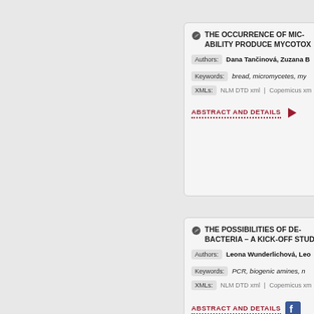THE OCCURRENCE OF MIC... ABILITY PRODUCE MYCOTOX...
Authors: Dana Tančinová, Zuzana B...
Keywords: bread, micromycetes, my...
XMLs: NLM DTD xml | Copernicus xm...
ABSTRACT AND DETAILS
THE POSSIBILITIES OF DE... BACTERIA – A KICK-OFF STUD...
Authors: Leona Wunderlichová, Leo...
Keywords: PCR, biogenic amines, r...
XMLs: NLM DTD xml | Copernicus xm...
ABSTRACT AND DETAILS